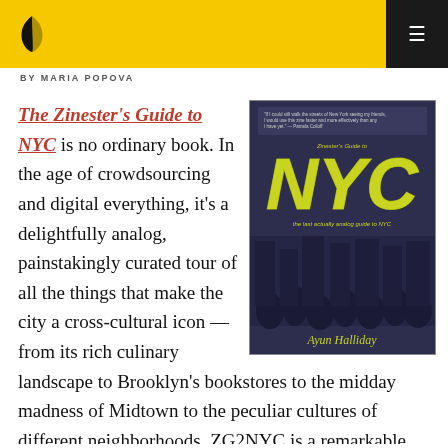BY MARIA POPOVA
[Figure (photo): Book cover of 'Zinester's Guide to NYC' by Ayun Halliday, showing hand-drawn yellow NYC text on a dark purple/grey background with illustrated urban scene]
The Zinester's Guide to NYC is no ordinary book. In the age of crowdsourcing and digital everything, it's a delightfully analog, painstakingly curated tour of all the things that make the city a cross-cultural icon — from its rich culinary landscape to Brooklyn's bookstores to the midday madness of Midtown to the peculiar cultures of different neighborhoods, ZG2NYC is a remarkable achievement of urban curiosity, beautifully illustrated with original